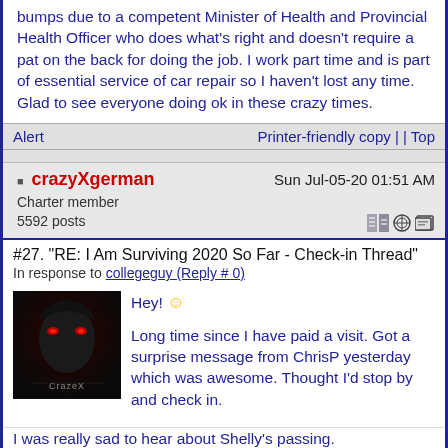bumps due to a competent Minister of Health and Provincial Health Officer who does what's right and doesn't require a pat on the back for doing the job. I work part time and is part of essential service of car repair so I haven't lost any time. Glad to see everyone doing ok in these crazy times.
Alert
Printer-friendly copy | | Top
crazyXgerman  Sun Jul-05-20 01:51 AM
Charter member
5592 posts
#27. "RE: I Am Surviving 2020 So Far - Check-in Thread"
In response to collegeguy (Reply # 0)
[Figure (photo): User avatar image for crazyXgerman, dark background with stylized face and red eyes, CrazeX logo text]
Hey! :)

Long time since I have paid a visit. Got a surprise message from ChrisP yesterday which was awesome. Thought I'd stop by and check in.

I was really sad to hear about Shelly's passing.